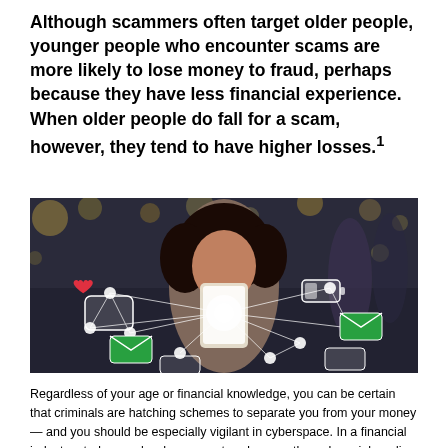Although scammers often target older people, younger people who encounter scams are more likely to lose money to fraud, perhaps because they have less financial experience. When older people do fall for a scam, however, they tend to have higher losses.¹
[Figure (photo): A young woman looking at her smartphone with social media and digital connection icons overlaid as a glowing network around her, set against a blurred crowd background.]
Regardless of your age or financial knowledge, you can be certain that criminals are hatching schemes to separate you from your money — and you should be especially vigilant in cyberspace. In a financial industry study, people who encountered scams through social media or a website were much more likely to engage with the scammer and lose money than those who were contacted by